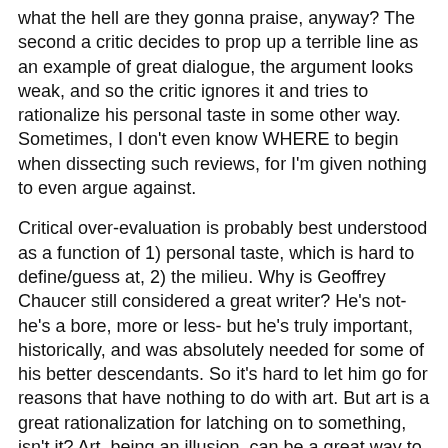what the hell are they gonna praise, anyway? The second a critic decides to prop up a terrible line as an example of great dialogue, the argument looks weak, and so the critic ignores it and tries to rationalize his personal taste in some other way. Sometimes, I don't even know WHERE to begin when dissecting such reviews, for I'm given nothing to even argue against.
Critical over-evaluation is probably best understood as a function of 1) personal taste, which is hard to define/guess at, 2) the milieu. Why is Geoffrey Chaucer still considered a great writer? He's not- he's a bore, more or less- but he's truly important, historically, and was absolutely needed for some of his better descendants. So it's hard to let him go for reasons that have nothing to do with art. But art is a great rationalization for latching on to something, isn't it? Art, being an illusion, can be a great way to deceive oneself. I think on some level this is what happens again and again.
To clarify I had in mind Ebert's review of the film, which is obviously the product of a deep, rapturous engagement with the work (and is written as such, hence as you say it is hard